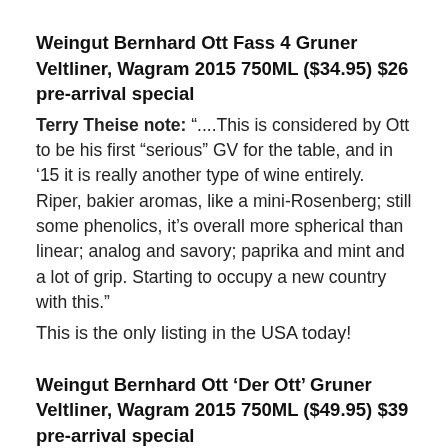Weingut Bernhard Ott Fass 4 Gruner Veltliner, Wagram 2015 750ML ($34.95) $26 pre-arrival special
Terry Theise note: “....This is considered by Ott to be his first “serious” GV for the table, and in ’15 it is really another type of wine entirely. Riper, bakier aromas, like a mini-Rosenberg; still some phenolics, it’s overall more spherical than linear; analog and savory; paprika and mint and a lot of grip. Starting to occupy a new country with this.”
This is the only listing in the USA today!
Weingut Bernhard Ott ‘Der Ott’ Gruner Veltliner, Wagram 2015 750ML ($49.95) $39 pre-arrival special
Terry Theise note: “Put it this way: would you ignore Bourgogne Rouge from Henri Jayer?
“This wine is made from young vines in the three Grand